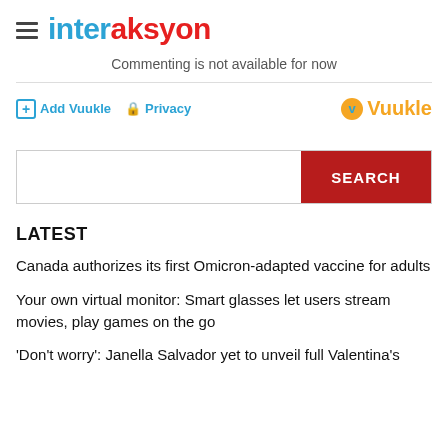interaksyon
Commenting is not available for now
Add Vuukle   Privacy   Vuukle
[Figure (screenshot): Search bar with a SEARCH button on the right in red]
LATEST
Canada authorizes its first Omicron-adapted vaccine for adults
Your own virtual monitor: Smart glasses let users stream movies, play games on the go
'Don't worry': Janella Salvador yet to unveil full Valentina's